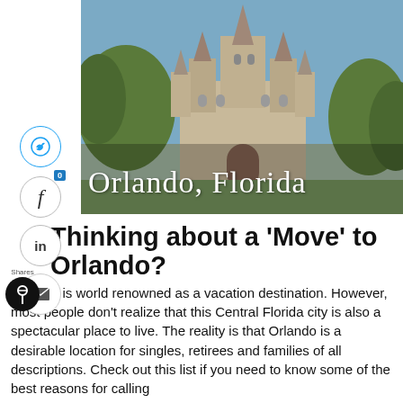[Figure (photo): Photo of Cinderella's Castle at Walt Disney World in Orlando, Florida, with blue sky and trees. Overlaid cursive text reads 'Orlando, Florida']
Thinking about a 'Move' to Orlando?
Orlando is world renowned as a vacation destination. However, most people don't realize that this Central Florida city is also a spectacular place to live. The reality is that Orlando is a desirable location for singles, retirees and families of all descriptions. Check out this list if you need to know some of the best reasons for calling